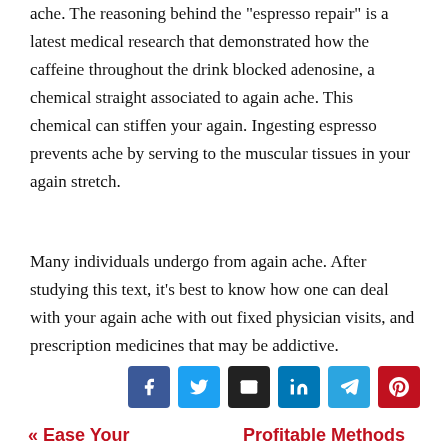ache. The reasoning behind the "espresso repair" is a latest medical research that demonstrated how the caffeine throughout the drink blocked adenosine, a chemical straight associated to again ache. This chemical can stiffen your again. Ingesting espresso prevents ache by serving to the muscular tissues in your again stretch.
Many individuals undergo from again ache. After studying this text, it's best to know how one can deal with your again ache with out fixed physician visits, and prescription medicines that may be addictive.
[Figure (infographic): Social media share buttons: Facebook (blue), Twitter (cyan), Email (dark), LinkedIn (dark blue), Telegram (blue), Pinterest (red)]
« Ease Your
Profitable Methods